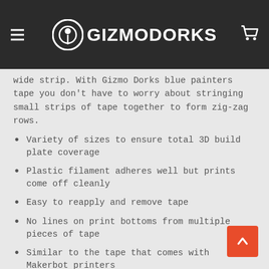GIZMODORKS
wide strip. With Gizmo Dorks blue painters tape you don't have to worry about stringing small strips of tape together to form zig-zag rows.
Variety of sizes to ensure total 3D build plate coverage
Plastic filament adheres well but prints come off cleanly
Easy to reapply and remove tape
No lines on print bottoms from multiple pieces of tape
Similar to the tape that comes with Makerbot printers